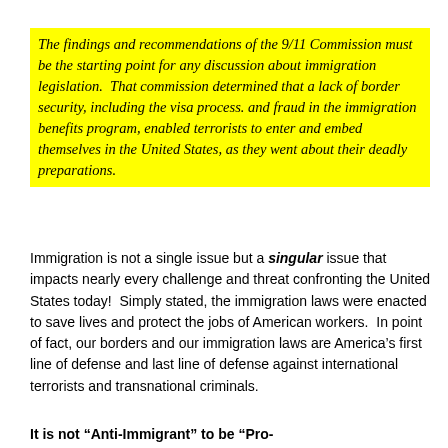The findings and recommendations of the 9/11 Commission must be the starting point for any discussion about immigration legislation.  That commission determined that a lack of border security, including the visa process. and fraud in the immigration benefits program, enabled terrorists to enter and embed themselves in the United States, as they went about their deadly preparations.
Immigration is not a single issue but a singular issue that impacts nearly every challenge and threat confronting the United States today!  Simply stated, the immigration laws were enacted to save lives and protect the jobs of American workers.  In point of fact, our borders and our immigration laws are America's first line of defense and last line of defense against international terrorists and transnational criminals.
It is not “Anti-Immigrant” to be “Pro-